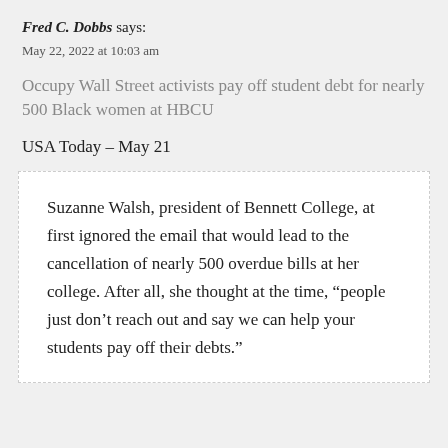Fred C. Dobbs says:
May 22, 2022 at 10:03 am
Occupy Wall Street activists pay off student debt for nearly 500 Black women at HBCU
USA Today – May 21
Suzanne Walsh, president of Bennett College, at first ignored the email that would lead to the cancellation of nearly 500 overdue bills at her college. After all, she thought at the time, “people just don’t reach out and say we can help your students pay off their debts.”